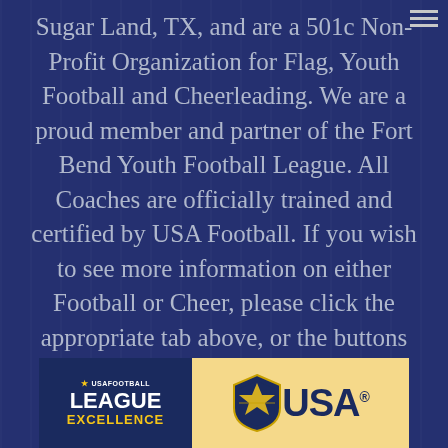Sugar Land, TX, and are a 501c Non-Profit Organization for Flag, Youth Football and Cheerleading. We are a proud member and partner of the Fort Bend Youth Football League. All Coaches are officially trained and certified by USA Football. If you wish to see more information on either Football or Cheer, please click the appropriate tab above, or the buttons below:
[Figure (logo): USA Football League Excellence banner with blue left panel showing 'USA FOOTBALL LEAGUE EXCELLENCE' text and gold right panel showing USA logo with shield and 'USA' wordmark]